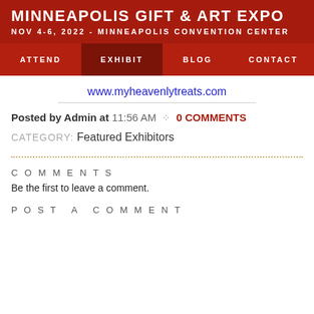MINNEAPOLIS GIFT & ART EXPO
NOV 4-6, 2022 - MINNEAPOLIS CONVENTION CENTER
ATTEND  EXHIBIT  BLOG  CONTACT
www.myheavenlytreats.com
Posted by Admin at 11:56 AM  0 COMMENTS
CATEGORY:  Featured Exhibitors
COMMENTS
Be the first to leave a comment.
POST A COMMENT